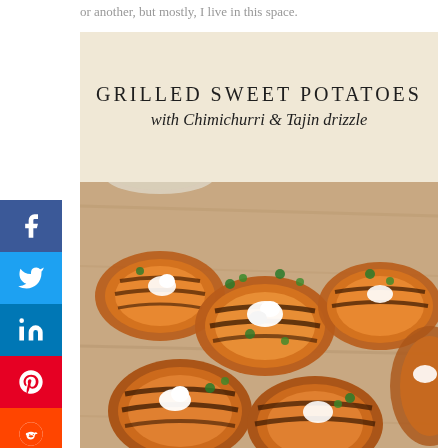or another, but mostly, I live in this space.
[Figure (photo): Food photo showing grilled sweet potato slices topped with white cream dollops, green chimichurri sauce dots, served on a wooden board with a wine glass in the background. Overlay title reads 'GRILLED SWEET POTATOES with Chimichurri & Tajin drizzle']
GRILLED SWEET POTATOES with Chimichurri & Tajin drizzle